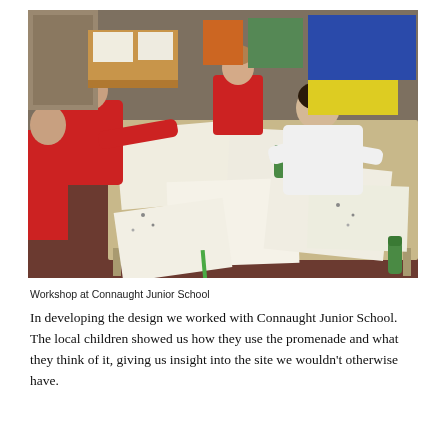[Figure (photo): Children and a teacher in a classroom setting, leaning over a large table covered with papers and drawings. Students wear red school uniforms. Classroom shelves, colourful bins, and supplies are visible in the background.]
Workshop at Connaught Junior School
In developing the design we worked with Connaught Junior School. The local children showed us how they use the promenade and what they think of it, giving us insight into the site we wouldn't otherwise have.